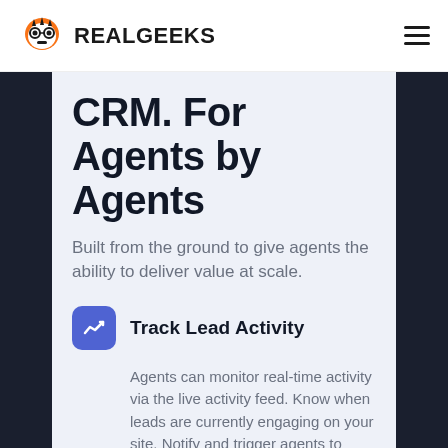RealGeeks
CRM. For Agents by Agents
Built from the ground to give agents the ability to deliver value at scale.
Track Lead Activity
Agents can monitor real-time activity via the live activity feed. Know when leads are currently engaging on your site. Notify and trigger agents to follow up on high-engaging leads.
Lead AutoResponders